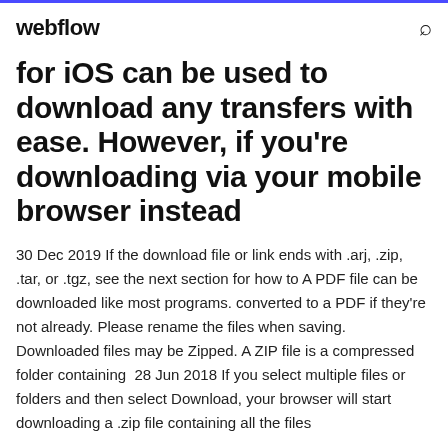webflow
for iOS can be used to download any transfers with ease. However, if you're downloading via your mobile browser instead
30 Dec 2019 If the download file or link ends with .arj, .zip, .tar, or .tgz, see the next section for how to A PDF file can be downloaded like most programs. converted to a PDF if they're not already. Please rename the files when saving. Downloaded files may be Zipped. A ZIP file is a compressed folder containing  28 Jun 2018 If you select multiple files or folders and then select Download, your browser will start downloading a .zip file containing all the files